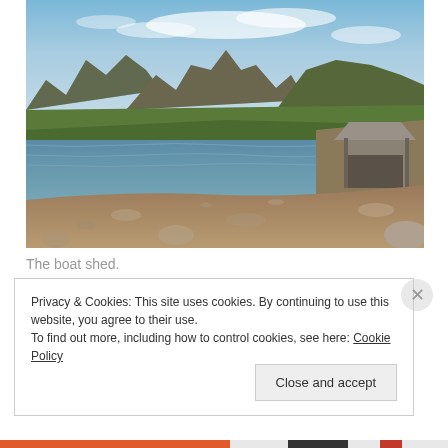[Figure (photo): Landscape photograph showing a mountain lake scene with Cradle Mountain in the background, lush green hillsides, a clear blue sky with light clouds, a rocky shoreline in the foreground, and a rustic wooden boat shed on the right side of the image.]
The boat shed.
Privacy & Cookies: This site uses cookies. By continuing to use this website, you agree to their use.
To find out more, including how to control cookies, see here: Cookie Policy
Close and accept